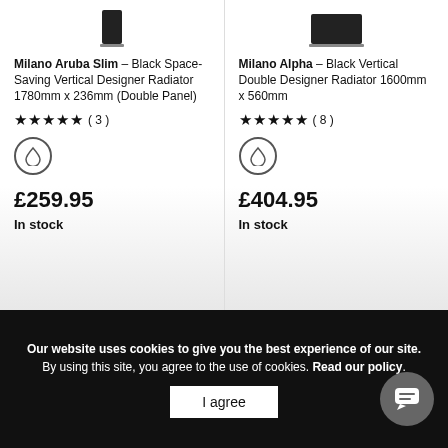[Figure (photo): Milano Aruba Slim black vertical radiator product image (top cropped)]
Milano Aruba Slim – Black Space-Saving Vertical Designer Radiator 1780mm x 236mm (Double Panel)
★★★★★ ( 3 )
[Figure (illustration): Water/central heating icon (droplet inside circle)]
£259.95
In stock
[Figure (photo): Milano Alpha black vertical double designer radiator product image (top cropped)]
Milano Alpha – Black Vertical Double Designer Radiator 1600mm x 560mm
★★★★★ ( 8 )
[Figure (illustration): Water/central heating icon (droplet inside circle)]
£404.95
In stock
Our website uses cookies to give you the best experience of our site. By using this site, you agree to the use of cookies. Read our policy.
I agree